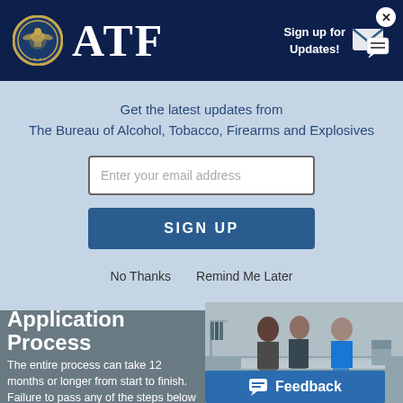ATF — Bureau of Alcohol, Tobacco, Firearms and Explosives
Sign up for Updates!
Get the latest updates from The Bureau of Alcohol, Tobacco, Firearms and Explosives
Enter your email address
SIGN UP
No Thanks   Remind Me Later
Application Process
The entire process can take 12 months or longer from start to finish. Failure to pass any of the steps below may eliminate you from the hiring process.
[Figure (photo): Three people examining items behind a glass counter in what appears to be a firearms shop or inspection area.]
Feedback